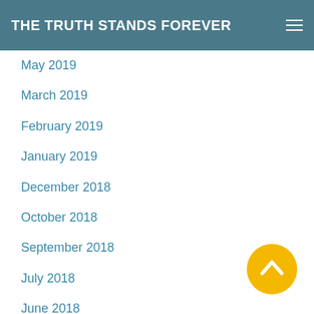THE TRUTH STANDS FOREVER
May 2019
March 2019
February 2019
January 2019
December 2018
October 2018
September 2018
July 2018
June 2018
May 2018
March 2018
February 2018
January 2018
December 2017
[Figure (illustration): Yellow circular back-to-top button with upward chevron arrow]